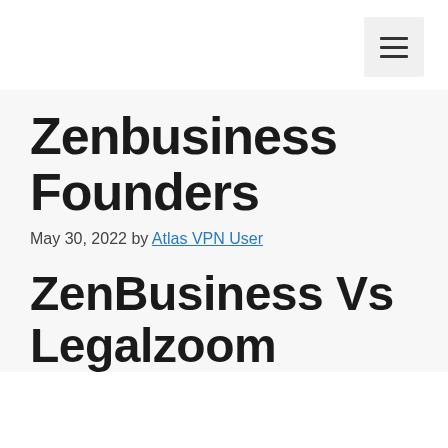☰
Zenbusiness Founders
May 30, 2022 by Atlas VPN User
ZenBusiness Vs Legalzoom